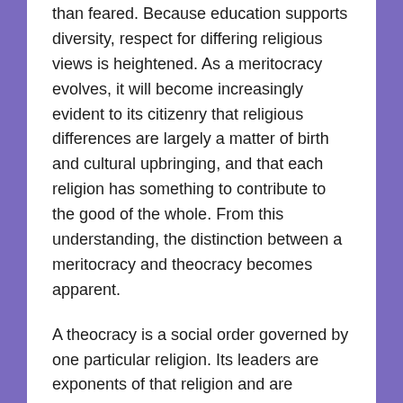than feared. Because education supports diversity, respect for differing religious views is heightened. As a meritocracy evolves, it will become increasingly evident to its citizenry that religious differences are largely a matter of birth and cultural upbringing, and that each religion has something to contribute to the good of the whole. From this understanding, the distinction between a meritocracy and theocracy becomes apparent.
A theocracy is a social order governed by one particular religion. Its leaders are exponents of that religion and are relatively intolerant of contrary spiritual or secular views. However, a spiritual meritocracy is not religious. It holds the view that all avenues of human expression have the potential of being spiritual (something quite different from religious). In other words, spirituality is not exclusive to religion